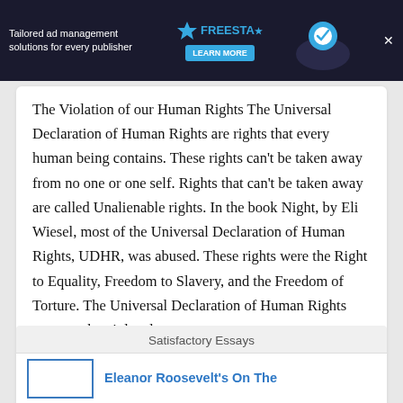[Figure (other): Advertisement banner for Freestar ad management platform with dark background, illustrated characters, and 'LEARN MORE' button]
The Violation of our Human Rights The Universal Declaration of Human Rights are rights that every human being contains. These rights can't be taken away from no one or one self. Rights that can't be taken away are called Unalienable rights. In the book Night, by Eli Wiesel, most of the Universal Declaration of Human Rights, UDHR, was abused. These rights were the Right to Equality, Freedom to Slavery, and the Freedom of Torture. The Universal Declaration of Human Rights must not be violated at any…
Satisfactory Essays
Eleanor Roosevelt's On The